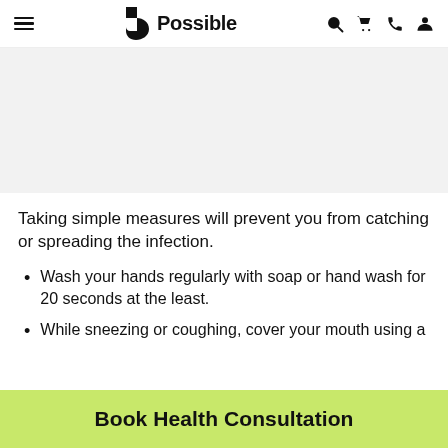Possible (logo navigation bar)
[Figure (photo): Hero image placeholder — light grey rectangular banner]
Taking simple measures will prevent you from catching or spreading the infection.
Wash your hands regularly with soap or hand wash for 20 seconds at the least.
While sneezing or coughing, cover your mouth using a
Book Health Consultation